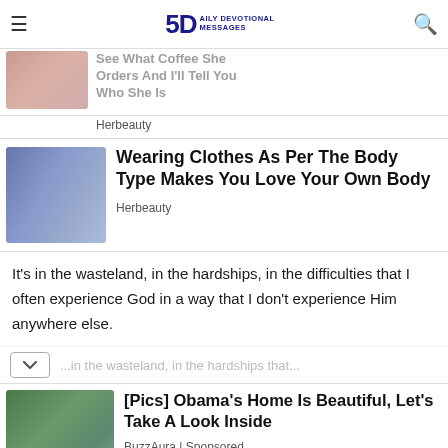5D DAILY DEVOTIONAL MESSAGES
[Figure (photo): Partially visible ad card: woman holding coffee cup, title 'See What Coffee She Orders And I'll Tell You Who She Is', source: Herbeauty]
Herbeauty
[Figure (photo): Young woman in blue cardigan smiling, background store shelves — article thumbnail for Herbeauty]
Wearing Clothes As Per The Body Type Makes You Love Your Own Body
Herbeauty
It's in the wasteland, in the hardships, in the difficulties that I often experience God in a way that I don't experience Him anywhere else.
[Figure (photo): Photo of Barack Obama and Michelle Obama outdoors with greenery in background — sponsored ad]
[Pics] Obama's Home Is Beautiful, Let's Take A Look Inside
BuzzAura | Sponsored